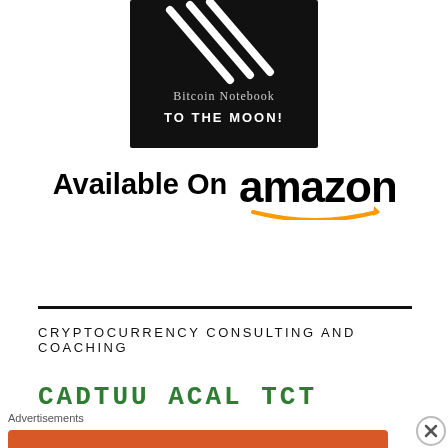[Figure (photo): Bitcoin Notebook 'TO THE MOON!' book cover with dark/black background and stylized graphic]
Available On amazon
[Figure (logo): Amazon logo with orange smile arrow]
CRYPTOCURRENCY CONSULTING AND COACHING
CaDTuu aCal TCT
[Figure (screenshot): DuckDuckGo advertisement banner: orange background, 'Search, browse, and email with more privacy. All in One Free App' with DuckDuckGo logo and phone mockup]
Advertisements